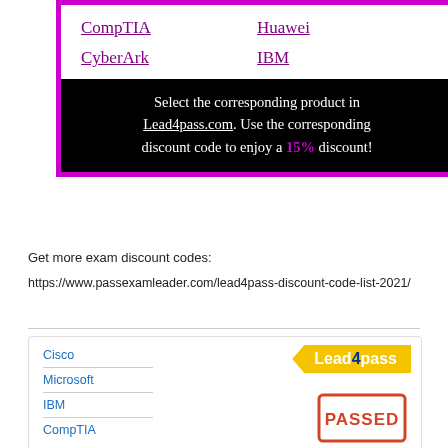[Figure (infographic): Purple-bordered box with vendor links in two columns (CompTIA, CyberArk, Huawei, IBM) and a black promotional bar saying: Select the corresponding product in Lead4pass.com. Use the corresponding discount code to enjoy a 15% discount!]
Get more exam discount codes:
https://www.passexamleader.com/lead4pass-discount-code-list-2021/
[Figure (infographic): White card with Lead4pass yellow badge logo, list of vendors (Cisco, Microsoft, IBM, CompTIA) with dividers on left, and a red PASSED stamp on the right.]